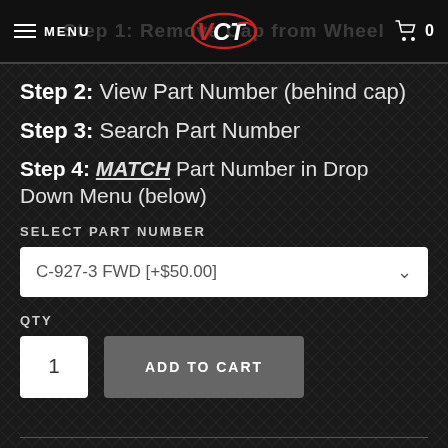Step 1: Remove Cap from Wheel
Step 2: View Part Number (behind cap)
Step 3: Search Part Number
Step 4: MATCH Part Number in Drop Down Menu (below)
SELECT PART NUMBER
C-927-3 FWD [+$50.00]
QTY
1
ADD TO CART